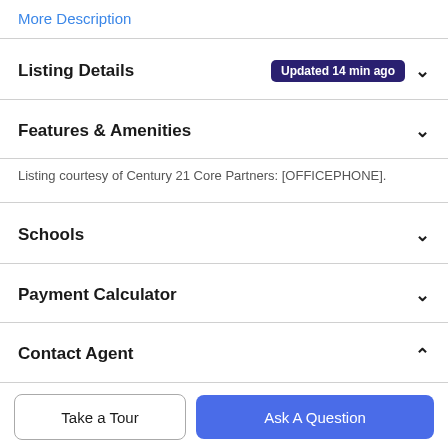More Description
Listing Details Updated 14 min ago
Features & Amenities
Listing courtesy of Century 21 Core Partners: [OFFICEPHONE].
Schools
Payment Calculator
Contact Agent
Take a Tour
Ask A Question